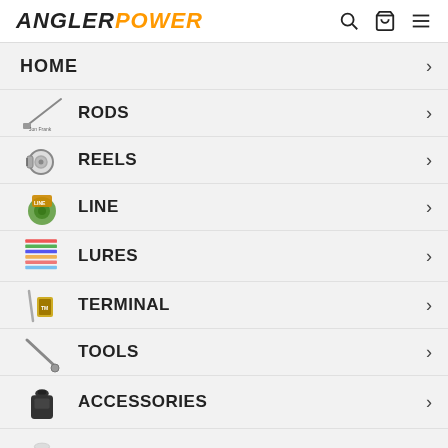ANGLERPOWER — navigation header with search, cart, and menu icons
HOME >
RODS >
REELS >
LINE >
LURES >
TERMINAL >
TOOLS >
ACCESSORIES >
APPAREL >